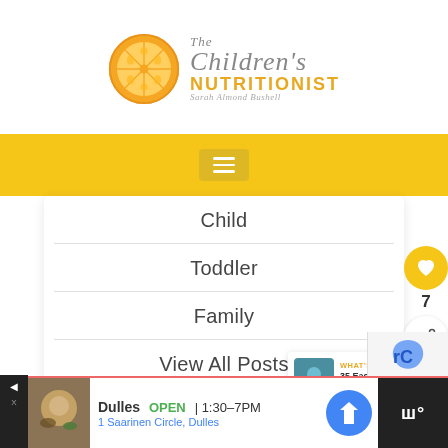[Figure (logo): The Children's Nutritionist logo with orange slice and text 'The Children's NUTRITIONIST, Sarah Almond Bushell']
[Figure (screenshot): Yellow navigation bar with hamburger menu icon]
Child
Toddler
Family
View All Posts
[Figure (infographic): Side action buttons: heart/like button (orange circle) with count 7, and share button (white circle)]
[Figure (infographic): What's Next panel: thumbnail image and text '35 Easy Baby Led Weanin...']
[Figure (screenshot): Ad bar at bottom: Dulles OPEN | 1:30-7PM, 1 Saarinen Circle, Dulles with map icon]